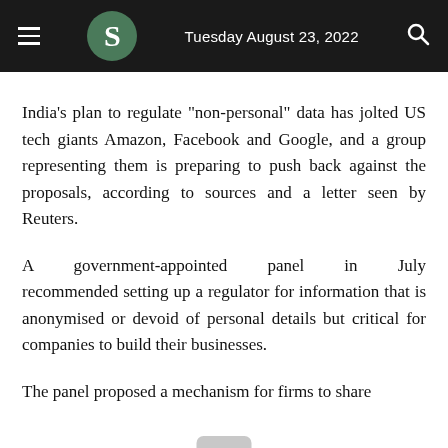Tuesday August 23, 2022
India's plan to regulate "non-personal" data has jolted US tech giants Amazon, Facebook and Google, and a group representing them is preparing to push back against the proposals, according to sources and a letter seen by Reuters.
A government-appointed panel in July recommended setting up a regulator for information that is anonymised or devoid of personal details but critical for companies to build their businesses.
The panel proposed a mechanism for firms to share